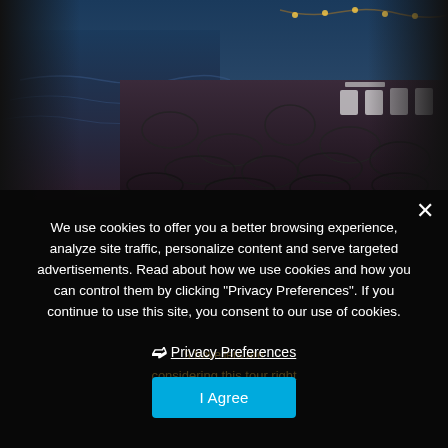[Figure (photo): Coastal restaurant at dusk with stone paving, white chairs, and sea water with dim warm lighting from string lights in the background]
We use cookies to offer you a better browsing experience, analyze site traffic, personalize content and serve targeted advertisements. Read about how we use cookies and how you can control them by clicking "Privacy Preferences". If you continue to use this site, you consent to our use of cookies.
› Privacy Preferences
I Agree